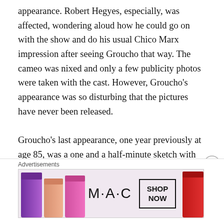appearance. Robert Hegyes, especially, was affected, wondering aloud how he could go on with the show and do his usual Chico Marx impression after seeing Groucho that way. The cameo was nixed and only a few publicity photos were taken with the cast. However, Groucho's appearance was so disturbing that the pictures have never been released.

Groucho's last appearance, one year previously at age 85, was a one and a half-minute sketch with George Burns (then 80 years old himself) on a 1976 Bob Hope television special. The program demonstrated with both perfect genius and utter sadness the two sides of Groucho in the 1970's. On the one hand we see the real, frail Groucho,
Advertisements
[Figure (photo): MAC cosmetics advertisement showing lipsticks in purple, peach, and pink on the left and a red lipstick on the right, with M·A·C logo in the center and a 'SHOP NOW' button.]